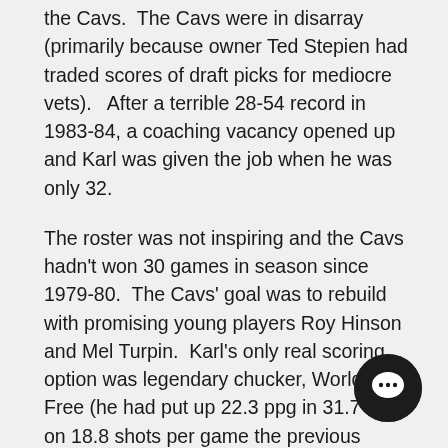the Cavs.  The Cavs were in disarray (primarily because owner Ted Stepien had traded scores of draft picks for mediocre vets).   After a terrible 28-54 record in 1983-84, a coaching vacancy opened up and Karl was given the job when he was only 32.
The roster was not inspiring and the Cavs hadn't won 30 games in season since 1979-80.  The Cavs' goal was to rebuild with promising young players Roy Hinson and Mel Turpin.  Karl's only real scoring option was legendary chucker, World B. Free (he had put up 22.3 ppg in 31.7 mpg on 18.8 shots per game the previous season).  The problem was Free was already 31 and was not really a long term option.  The other problem was that Karl, the ultimate hustling non-scorer, was not a fan of chuckers who played little defense.
Karl attempted to turn the Free into a role player and
[Figure (other): Chat bubble / messaging icon — a dark circular button with a speech bubble icon in the lower right corner of the page]